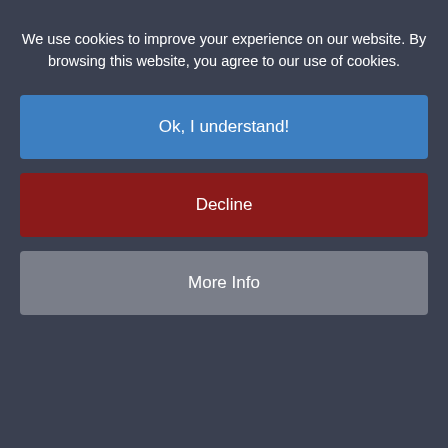We use cookies to improve your experience on our website. By browsing this website, you agree to our use of cookies.
Ok, I understand!
Decline
More Info
are taken to create a safe environment, which can mean the difference between life and death in some cases.
Most accidents involving electricity are the result of unsafe and improper work practices or improper installation and equipment. Best practices when installing surge protection may not be as simple as grounding, guarding, and insulation. When planning a surge protection strategy, the best place to begin is by assessing the incoming power connections. This is the primary entry point for power surges and spikes that originate from outside the building. Protecting the power connection also provides protection from internally generated power anomalies resulting from refrigeration equipment, air handling equipment and similar high current devices. Be sure to consider any additional systems your facility might have including data, fire, security